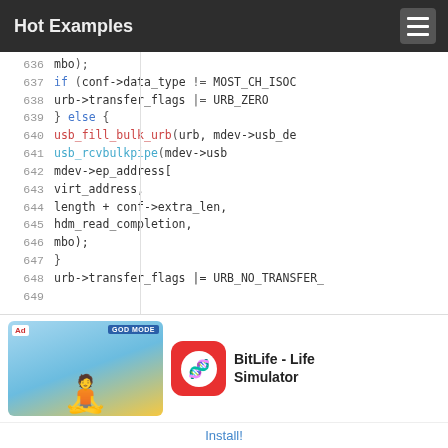Hot Examples
[Figure (screenshot): Code viewer showing lines 636-649 of C source code with syntax highlighting. Keywords in blue, function names in red and cyan, plain code in dark gray. Line numbers in gray on left.]
[Figure (infographic): Advertisement for BitLife - Life Simulator app. Shows cartoon character with sunglasses on blue background, app icon, title, and Install button.]